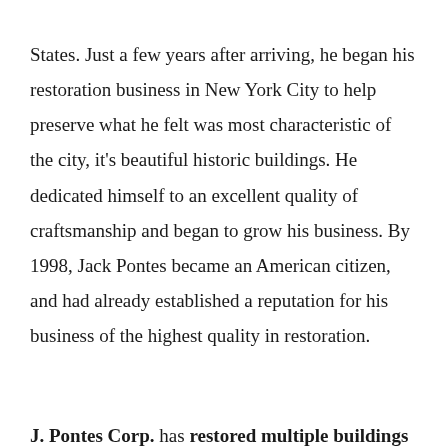States. Just a few years after arriving, he began his restoration business in New York City to help preserve what he felt was most characteristic of the city, it's beautiful historic buildings. He dedicated himself to an excellent quality of craftsmanship and began to grow his business. By 1998, Jack Pontes became an American citizen, and had already established a reputation for his business of the highest quality in restoration.
J. Pontes Corp. has restored multiple buildings in New York City. Many of the buildings are considered of architectural significance and of historic value, and are protected by the New York City Landmarks Preservation Commission. In 1998, J. Pontes Corp. was recognized by